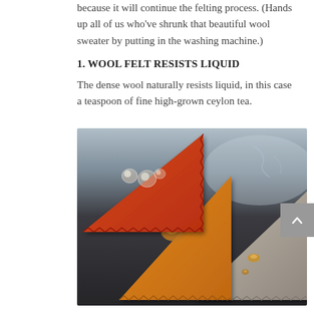because it will continue the felting process. (Hands up all of us who've shrunk that beautiful wool sweater by putting in the washing machine.)
1. WOOL FELT RESISTS LIQUID
The dense wool naturally resists liquid, in this case a teaspoon of fine high-grown ceylon tea.
[Figure (photo): Three triangular pieces of wool felt — red, orange, and gray — on a dark surface, each with liquid droplets (tea) beading on their surface, demonstrating water resistance.]